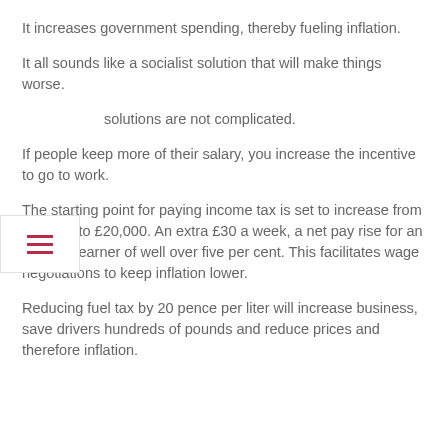It increases government spending, thereby fueling inflation.
It all sounds like a socialist solution that will make things worse.
solutions are not complicated.
If people keep more of their salary, you increase the incentive to go to work.
The starting point for paying income tax is set to increase from £12,570 to £20,000. An extra £30 a week, a net pay rise for an average earner of well over five per cent. This facilitates wage negotiations to keep inflation lower.
Reducing fuel tax by 20 pence per liter will increase business, save drivers hundreds of pounds and reduce prices and therefore inflation.